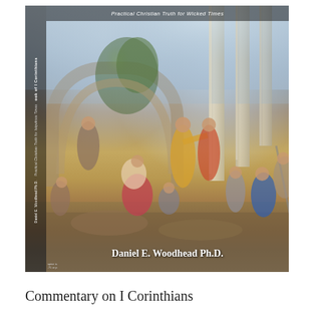[Figure (illustration): Book cover of 'Commentary on I Corinthians: Practical Christian Truth for Wicked Times' by Daniel E. Woodhead Ph.D. The cover features a classical painting depicting a scene with figures in ancient robes among Roman ruins with columns and an arch. A spine on the left side shows the book title and author in vertical text. The top of the cover shows the subtitle text. The bottom of the cover shows the author name 'Daniel E. Woodhead Ph.D.' in white bold text.]
Commentary on I Corinthians